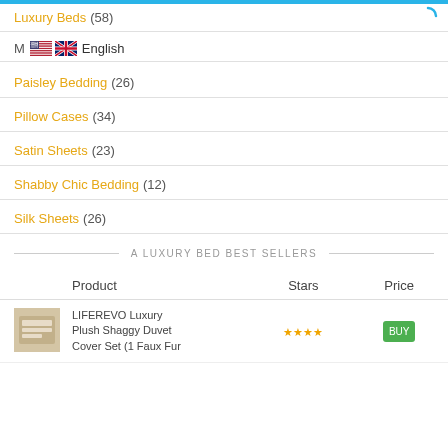Luxury Beds (58)
M  English
Paisley Bedding (26)
Pillow Cases (34)
Satin Sheets (23)
Shabby Chic Bedding (12)
Silk Sheets (26)
A LUXURY BED BEST SELLERS
| Product | Stars | Price |
| --- | --- | --- |
| LIFEREVO Luxury Plush Shaggy Duvet Cover Set (1 Faux Fur |  |  |